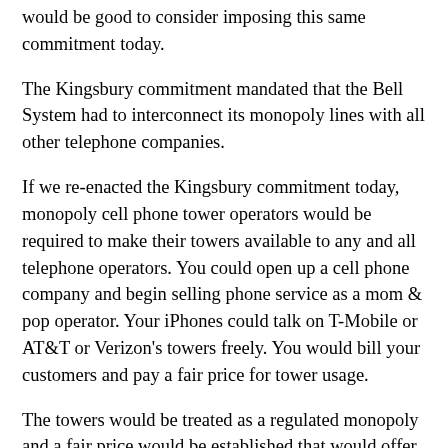would be good to consider imposing this same commitment today.
The Kingsbury commitment mandated that the Bell System had to interconnect its monopoly lines with all other telephone companies.
If we re-enacted the Kingsbury commitment today, monopoly cell phone tower operators would be required to make their towers available to any and all telephone operators. You could open up a cell phone company and begin selling phone service as a mom & pop operator. Your iPhones could talk on T-Mobile or AT&T or Verizon's towers freely. You would bill your customers and pay a fair price for tower usage.
The towers would be treated as a regulated monopoly and a fair price would be established that would offer a fair, but modest return on the tower operator's investment. For